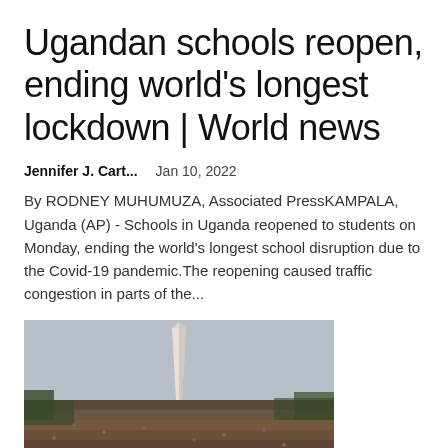Ugandan schools reopen, ending world's longest lockdown | World news
Jennifer J. Cart...    Jan 10, 2022
By RODNEY MUHUMUZA, Associated PressKAMPALA, Uganda (AP) - Schools in Uganda reopened to students on Monday, ending the world's longest school disruption due to the Covid-19 pandemic.The reopening caused traffic congestion in parts of the...
[Figure (photo): Aerial view of a large crowd gathered near a tall obelisk monument, taken from above showing dense crowds of people in an outdoor setting.]